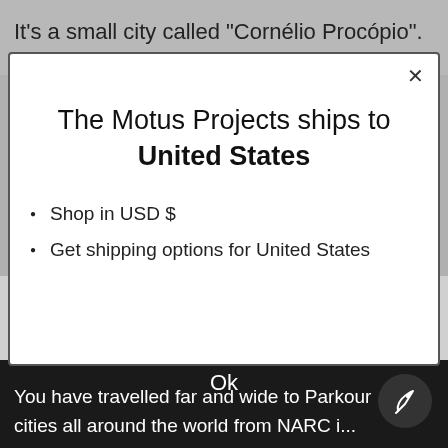It’s a small city called “Cornélio Procópio”. It’s in one
[Figure (screenshot): A modal dialog box with close button (X), title 'The Motus Projects ships to United States', and two bullet points: 'Shop in USD $' and 'Get shipping options for United States']
This website uses cookies to ensure you get the best experience. Learn more
Ok
You have travelled far and wide to Parkour cities all around the world from NARC i...